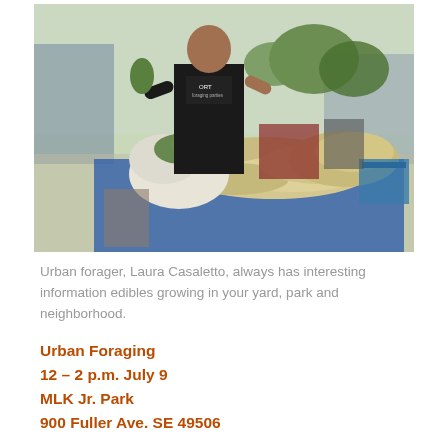[Figure (photo): A person in a black t-shirt with 'ORT' logo standing at an outdoor table displaying large mushrooms and leafy greens at what appears to be a community event or farmers market.]
Urban forager, Laura Casaletto, always has interesting information edibles growing in your yard, park and neighborhood.
Urban Foraging
12 – 2 p.m. July 9
MLK Jr. Park
900 Fuller Ave. SE 49506
Did you know that many of the native species we see